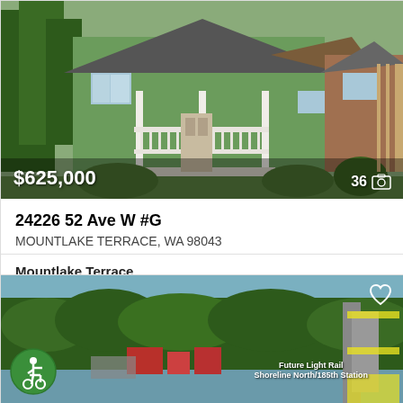[Figure (photo): Exterior photo of a green craftsman-style house with white porch railing and attached unit. Price overlay shows $625,000 and photo count 36.]
24226 52 Ave W #G
MOUNTLAKE TERRACE, WA 98043
Mountlake Terrace
3 Beds
2F 1 1/2 Baths
1,509 Sq.Ft.
MLS® #: 1914087
[Figure (photo): Aerial view of Mountlake Terrace neighborhood with text overlay indicating Future Light Rail Shoreline North/185th Station. Accessibility icon and heart icon visible.]